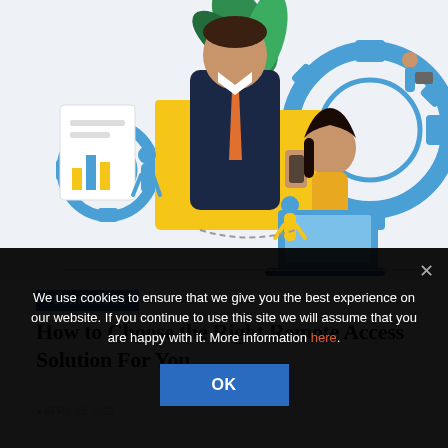[Figure (illustration): Colorful illustration of remote work/technology concept: large businessman in suit with orange tie holding phone, woman in yellow top working on blue laptop, small figures of workers, gear icons, plant leaves, bar chart document icon, yellow folder. Blue and yellow color scheme on light background.]
TECHNOLOGY
How to Choose the Right Remote Access Solution For You
We use cookies to ensure that we give you the best experience on our website. If you continue to use this site we will assume that you are happy with it. More information here.